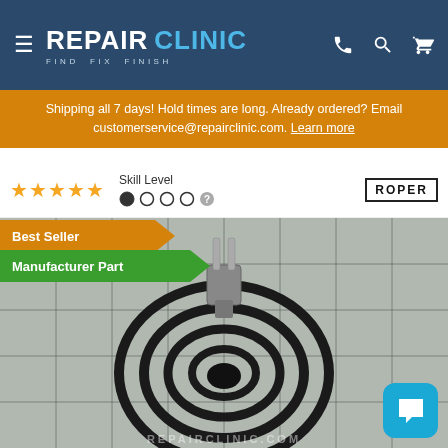REPAIR CLINIC — FIND. FIX. FINISH.
Shipping all 7 days! Hold times are long. Already ordered? Email customerservice@repairclinic.com. Learn more
Skill Level
★★★★★
ROPER
Best Seller
Manufacturer Part
[Figure (photo): Electric stove coil burner element (surface heating element) displayed against a white tiled grid background. The coil is circular with multiple concentric rings and two prong connectors at the top.]